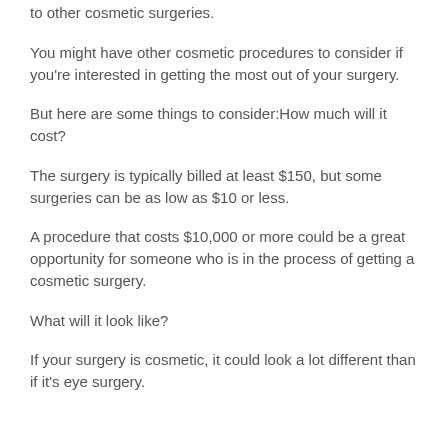to other cosmetic surgeries.
You might have other cosmetic procedures to consider if you're interested in getting the most out of your surgery.
But here are some things to consider:How much will it cost?
The surgery is typically billed at least $150, but some surgeries can be as low as $10 or less.
A procedure that costs $10,000 or more could be a great opportunity for someone who is in the process of getting a cosmetic surgery.
What will it look like?
If your surgery is cosmetic, it could look a lot different than if it's eye surgery.